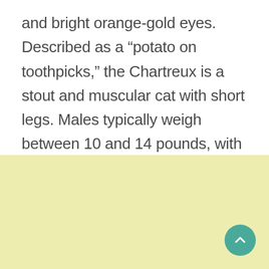and bright orange-gold eyes. Described as a “potato on toothpicks,” the Chartreux is a stout and muscular cat with short legs. Males typically weigh between 10 and 14 pounds, with females being smaller at 6 to 9 pounds.A
[Figure (other): Yellow-green colored background section (bottom half of page) with a teal circular scroll-to-top button in the bottom right corner containing an upward chevron arrow.]